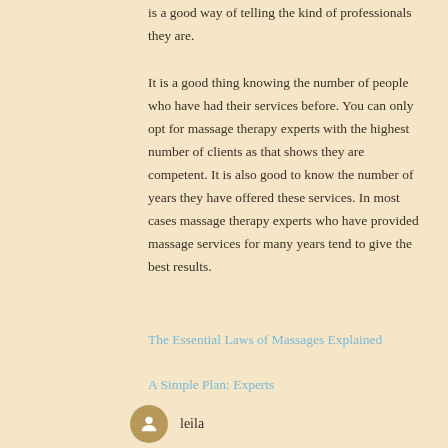is a good way of telling the kind of professionals they are.
It is a good thing knowing the number of people who have had their services before. You can only opt for massage therapy experts with the highest number of clients as that shows they are competent. It is also good to know the number of years they have offered these services. In most cases massage therapy experts who have provided massage services for many years tend to give the best results.
The Essential Laws of Massages Explained
A Simple Plan: Experts
leila